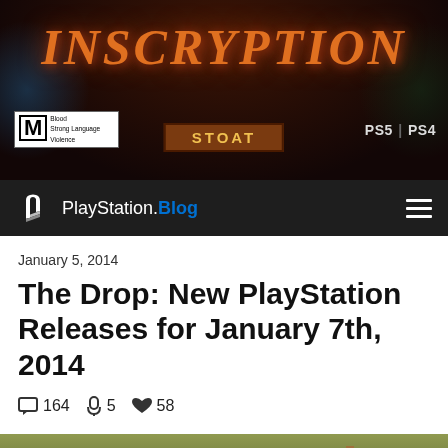[Figure (screenshot): Inscryption game banner with orange gothic title text on dark background, ESRB M rating badge, PS5/PS4 platform indicators, and a wooden sign reading STOAT]
[Figure (screenshot): PlayStation Blog navigation bar with PlayStation logo and hamburger menu icon on dark background]
January 5, 2014
The Drop: New PlayStation Releases for January 7th, 2014
164 comments, 5 saves, 58 likes
[Figure (screenshot): Game screenshot showing cartoon-style game with spider creature and wooden structures on earthy ground]